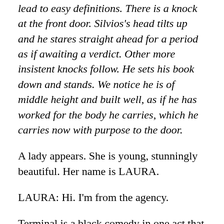lead to easy definitions. There is a knock at the front door. Silvios's head tilts up and he stares straight ahead for a period as if awaiting a verdict. Other more insistent knocks follow. He sets his book down and stands. We notice he is of middle height and built well, as if he has worked for the body he carries, which he carries now with purpose to the door.
A lady appears. She is young, stunningly beautiful. Her name is LAURA.
LAURA: Hi. I'm from the agency.
Terminal is a black comedy in one act that explores the relationship between sex and